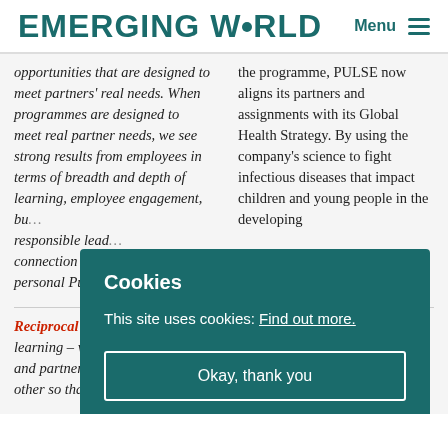EMERGING WORLD — Menu
opportunities that are designed to meet partners' real needs. When programmes are designed to meet real partner needs, we see strong results from employees in terms of breadth and depth of learning, employee engagement, bu… responsible lead… connection to co… personal Purpos…
the programme, PULSE now aligns its partners and assignments with its Global Health Strategy. By using the company's science to fight infectious diseases that impact children and young people in the developing
Reciprocal in te… learning – wher… and partners learn from each other so that the volunteering…
partners fill their skills or resource gaps, but they also…
Cookies
This site uses cookies: Find out more.
Okay, thank you